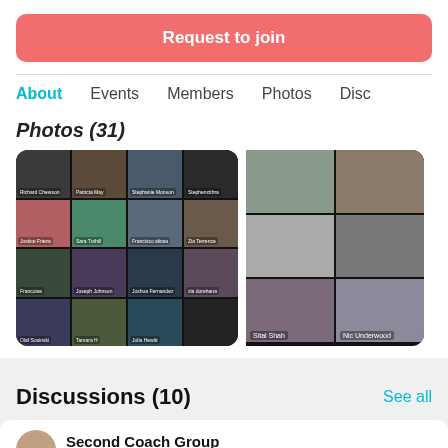Request to join
About    Events    Members    Photos    Disc
Photos (31)
[Figure (photo): Screenshot of a video conference call showing a grid of participant video thumbnails with participant names visible]
[Figure (photo): Partial screenshot of another video conference with participant names: Sital Shah, Nic Underwood, Suzana Hearne-..., Julia Hewitt]
Discussions (10)
See all
[Figure (photo): User avatar circle, partial discussion card]